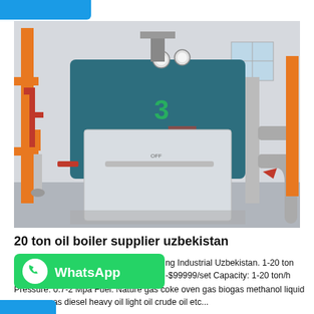[Figure (photo): Industrial boiler installation in a factory setting showing a large stainless steel boiler unit (numbered 3) with orange support structures, pipes, gauges, and ductwork in an industrial facility in Uzbekistan.]
20 ton oil boiler supplier uzbekistan
[Figure (logo): WhatsApp button with green background showing the WhatsApp phone handset logo icon and text 'WhatsApp']
ng Industrial Uzbekistan. 1-20 ton -$99999/set Capacity: 1-20 ton/h Pressure: 0.7-2 Mpa Fuel: Nature gas coke oven gas biogas methanol liquid propane gas diesel heavy oil light oil crude oil etc...